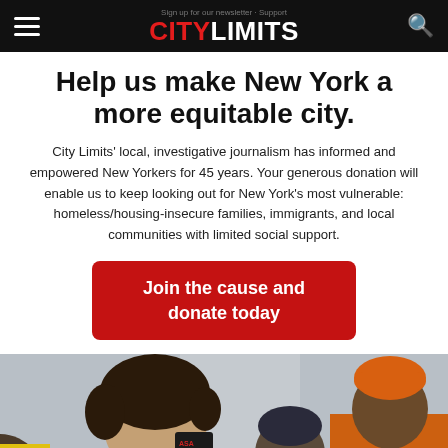CITY LIMITS
Help us make New York a more equitable city.
City Limits' local, investigative journalism has informed and empowered New Yorkers for 45 years. Your generous donation will enable us to keep looking out for New York's most vulnerable: homeless/housing-insecure families, immigrants, and local communities with limited social support.
Join the cause and donate today
[Figure (photo): Outdoor rally scene: a woman with curly hair speaking into a megaphone wearing a blue scarf and gray coat; behind her a man in a blue mask and another man in an orange jacket and orange beanie hat.]